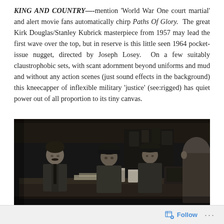KING AND COUNTRY—-mention 'World War One court martial' and alert movie fans automatically chirp Paths Of Glory. The great Kirk Douglas/Stanley Kubrick masterpiece from 1957 may lead the first wave over the top, but in reserve is this little seen 1964 pocket-issue nugget, directed by Joseph Losey. On a few suitably claustrophobic sets, with scant adornment beyond uniforms and mud and without any action scenes (just sound effects in the background) this kneecapper of inflexible military 'justice' (see:rigged) has quiet power out of all proportion to its tiny canvas.
[Figure (photo): Black and white still from the film King and Country, showing three uniformed World War One soldiers seated at a wooden table in a dim, cluttered interior. A fourth figure is visible from behind on the right. The soldiers appear to be in a military tribunal or court martial setting.]
Follow ...